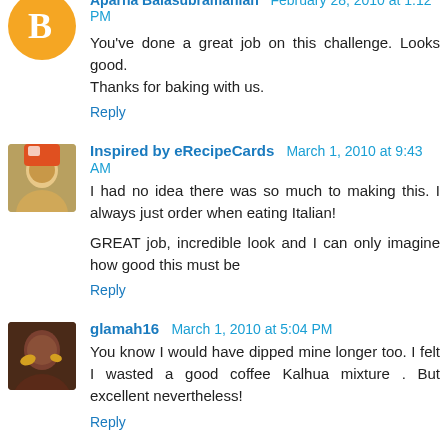Aparna Balasubramanian February 28, 2010 at 1:12 PM
You've done a great job on this challenge. Looks good. Thanks for baking with us.
Reply
Inspired by eRecipeCards March 1, 2010 at 9:43 AM
I had no idea there was so much to making this. I always just order when eating Italian!
GREAT job, incredible look and I can only imagine how good this must be
Reply
glamah16 March 1, 2010 at 5:04 PM
You know I would have dipped mine longer too. I felt I wasted a good coffee Kalhua mixture . But excellent nevertheless!
Reply